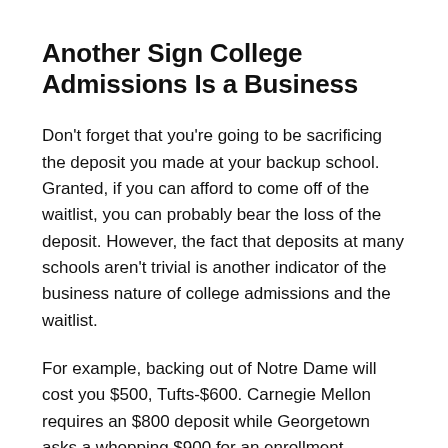Another Sign College Admissions Is a Business
Don't forget that you're going to be sacrificing the deposit you made at your backup school. Granted, if you can afford to come off of the waitlist, you can probably bear the loss of the deposit. However, the fact that deposits at many schools aren't trivial is another indicator of the business nature of college admissions and the waitlist.
For example, backing out of Notre Dame will cost you $500, Tufts-$600. Carnegie Mellon requires an $800 deposit while Georgetown asks a whopping $900 for an enrollment deposit.
Before you attribute these numbers to the general